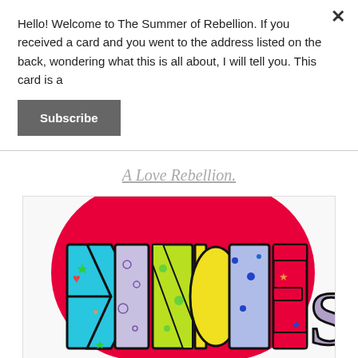Hello! Welcome to The Summer of Rebellion. If you received a card and you went to the address listed on the back, wondering what this is all about, I will tell you. This card is a
Subscribe
A Love Rebellion.
[Figure (illustration): Colorful heart-shaped illustration with the word KINDNESS written in large decorated letters with patterns, stars, dots, and bright colors on a red background.]